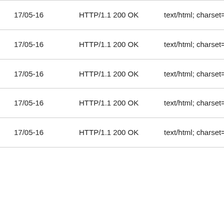| 17/05-16 | HTTP/1.1 200 OK | text/html; charset=utf-8 |
| 17/05-16 | HTTP/1.1 200 OK | text/html; charset=utf-8 |
| 17/05-16 | HTTP/1.1 200 OK | text/html; charset=utf-8 |
| 17/05-16 | HTTP/1.1 200 OK | text/html; charset=utf-8 |
| 17/05-16 | HTTP/1.1 200 OK | text/html; charset=utf-8 |